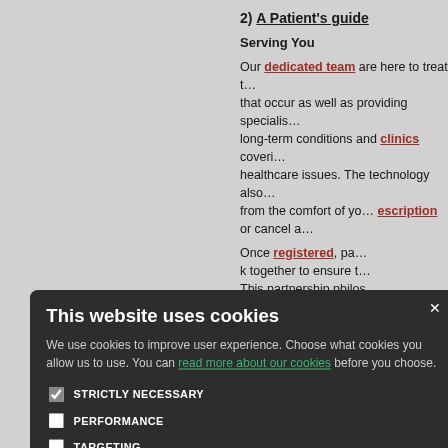2) A Patient's guide
Serving You
Our dedicated team are here to treat the illnesses that occur as well as providing specialist care for long-term conditions and clinics covering various healthcare issues. The technology also allows from the comfort of your home to order a prescription or cancel a appointment.
Once registered, patients and clinicians work together to ensure the best outcome. This partnership philosophy ensures that patient needs are met.
Please see below for a link to contact the surgery for details of how to book appointments and/or request repeat prescriptions.
EMERGENCY CARE
DIAL
Tuesday 1st December our Practice will be via the NHS 111 Se…
This website uses cookies

We use cookies to improve user experience. Choose what cookies you allow us to use. You can read more about our cookies before you choose.

STRICTLY NECESSARY
PERFORMANCE
TARGETING
FUNCTIONALITY

ACCEPT ALL    DECLINE ALL